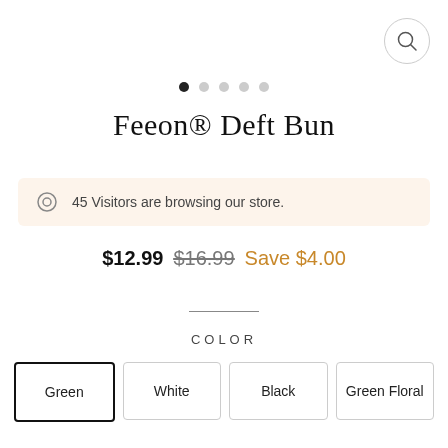[Figure (screenshot): Search icon button in top right corner]
[Figure (other): Carousel pagination dots: 5 dots, first one filled/active]
Feeon® Deft Bun
45 Visitors are browsing our store.
$12.99  $16.99  Save $4.00
COLOR
Green
White
Black
Green Floral